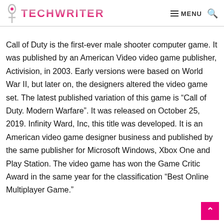TECHWRITER MENU
Call of Duty is the first-ever male shooter computer game. It was published by an American Video video game publisher, Activision, in 2003. Early versions were based on World War II, but later on, the designers altered the video game set. The latest published variation of this game is “Call of Duty. Modern Warfare”. It was released on October 25, 2019. Infinity Ward, Inc, this title was developed. It is an American video game designer business and published by the same publisher for Microsoft Windows, Xbox One and Play Station. The video game has won the Game Critic Award in the same year for the classification “Best Online Multiplayer Game.”